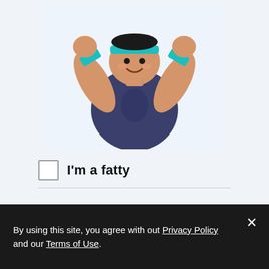[Figure (photo): An overweight Asian man in a dark navy tank top wearing a teal/cyan headband and matching wrist bands, smiling and raising both fists in a triumphant pose against a light blue-white background.]
I'm a fatty
By using this site, you agree with out Privacy Policy and our Terms of Use.